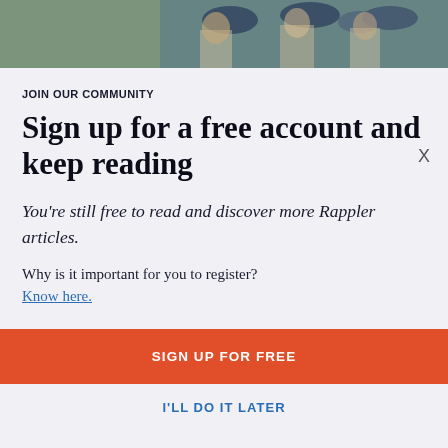[Figure (photo): Photo of people in caps, some appearing to be police officers or officials, one person holding something up]
X
JOIN OUR COMMUNITY
Sign up for a free account and keep reading
You're still free to read and discover more Rappler articles.
Why is it important for you to register?
Know here.
SIGN UP FOR FREE
I'LL DO IT LATER